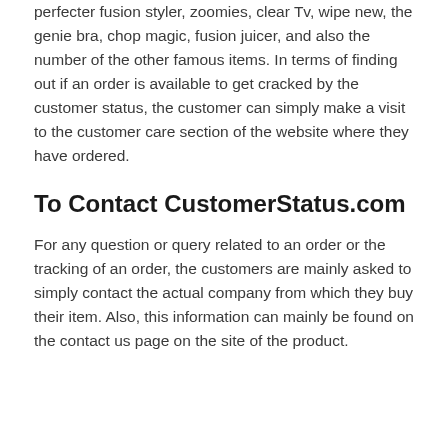perfecter fusion styler, zoomies, clear Tv, wipe new, the genie bra, chop magic, fusion juicer, and also the number of the other famous items. In terms of finding out if an order is available to get cracked by the customer status, the customer can simply make a visit to the customer care section of the website where they have ordered.
To Contact CustomerStatus.com
For any question or query related to an order or the tracking of an order, the customers are mainly asked to simply contact the actual company from which they buy their item. Also, this information can mainly be found on the contact us page on the site of the product.